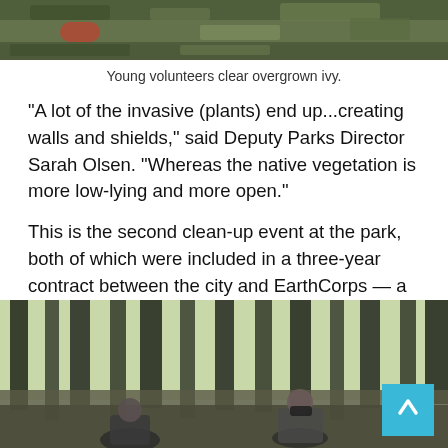[Figure (photo): Top portion of photo showing overgrown vegetation including ivy and plants in a park setting]
Young volunteers clear overgrown ivy.
"A lot of the invasive (plants) end up...creating walls and shields," said Deputy Parks Director Sarah Olsen. "Whereas the native vegetation is more low-lying and more open."
This is the second clean-up event at the park, both of which were included in a three-year contract between the city and EarthCorps — a Seattle-based environmental restoration program that is part of AmeriCorps — to create a habitat management plan for the park. Per the agreement, EarthCorps conducted site surveys, identified areas of improvement and a plan for restoring the park, said Parks Superintendent Eric Peterson.
[Figure (photo): People working in a forested park setting with tall trees, wearing masks, doing park restoration work. A cyan/teal back-to-top button appears in the bottom right corner.]